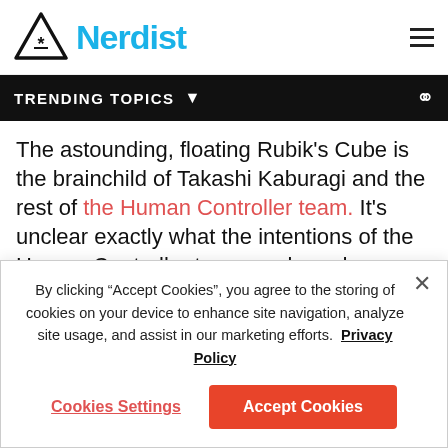Nerdist
TRENDING TOPICS
The astounding, floating Rubik’s Cube is the brainchild of Takashi Kaburagi and the rest of the Human Controller team. It’s unclear exactly what the intentions of the Human Controller team are based on translatable information we could find, although it’s behind a bevy of whimsical, and sometimes repulsive contraptions: including an “alter ego device” that allows you to put
By clicking “Accept Cookies”, you agree to the storing of cookies on your device to enhance site navigation, analyze site usage, and assist in our marketing efforts. Privacy Policy
Cookies Settings
Accept Cookies